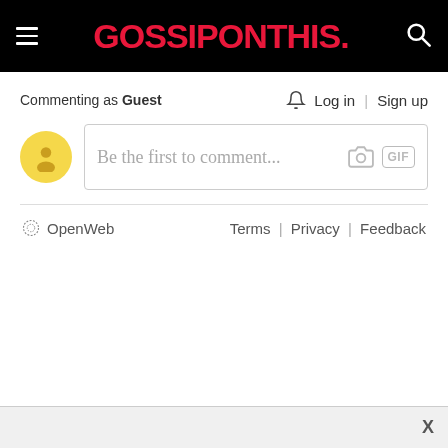GOSSIPONTHIS.
Commenting as Guest
Log in | Sign up
[Figure (screenshot): Comment input box with placeholder text 'Be the first to comment...' and camera and GIF icons]
OpenWeb   Terms | Privacy | Feedback